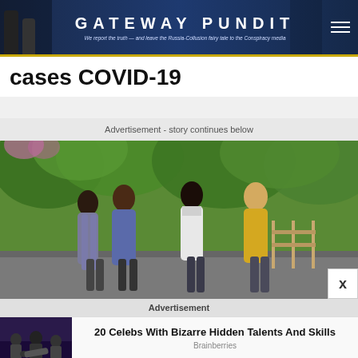GATEWAY PUNDIT — We report the truth — and leave the Russia-Collusion fairy tale to the Conspiracy media
cases COVID-19
Advertisement - story continues below
[Figure (photo): Four women walking outdoors in a park-like setting with green trees in the background. One woman wearing yellow, one in white, two others in athletic wear.]
Advertisement
[Figure (photo): Thumbnail of TV talk show scene with people sitting on stage]
20 Celebs With Bizarre Hidden Talents And Skills
Brainberries